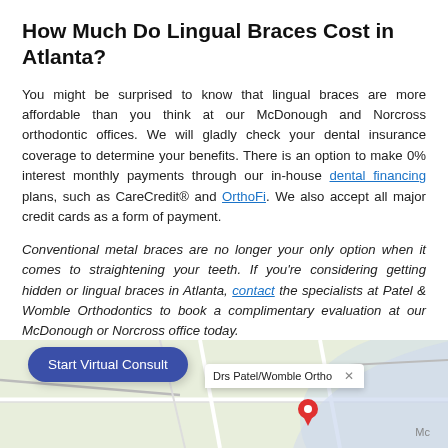How Much Do Lingual Braces Cost in Atlanta?
You might be surprised to know that lingual braces are more affordable than you think at our McDonough and Norcross orthodontic offices. We will gladly check your dental insurance coverage to determine your benefits. There is an option to make 0% interest monthly payments through our in-house dental financing plans, such as CareCredit® and OrthoFi. We also accept all major credit cards as a form of payment.
Conventional metal braces are no longer your only option when it comes to straightening your teeth. If you're considering getting hidden or lingual braces in Atlanta, contact the specialists at Patel & Womble Orthodontics to book a complimentary evaluation at our McDonough or Norcross office today.
FIND A LOCATION
[Figure (map): Google Maps showing location of Drs Patel/Womble Ortho with a Start Virtual Consult button overlay and a map popup with office name]